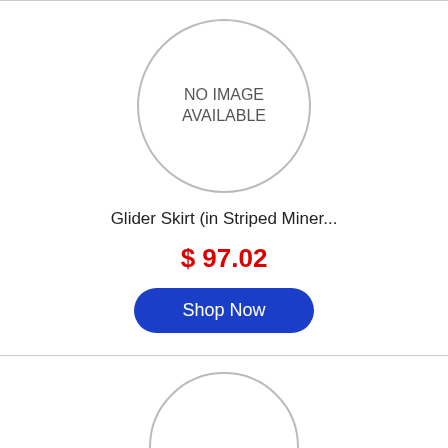[Figure (illustration): Circle placeholder with text NO IMAGE AVAILABLE for Glider Skirt product]
Glider Skirt (in Striped Miner...
$ 97.02
Shop Now
[Figure (illustration): Partial circle placeholder with text NO IMAGE for second product]